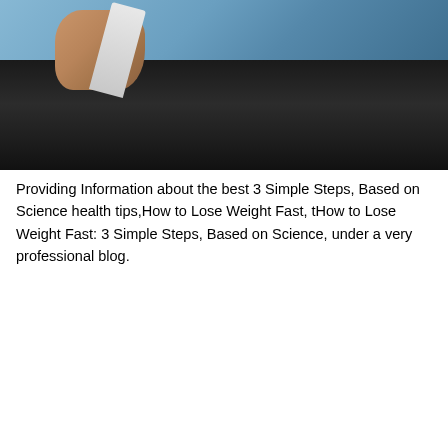[Figure (photo): Person in a dark jacket holding papers, with blue sky background visible]
Providing Information about the best 3 Simple Steps, Based on Science health tips,How to Lose Weight Fast, tHow to Lose Weight Fast: 3 Simple Steps, Based on Science, under a very professional blog.
Table of Contents